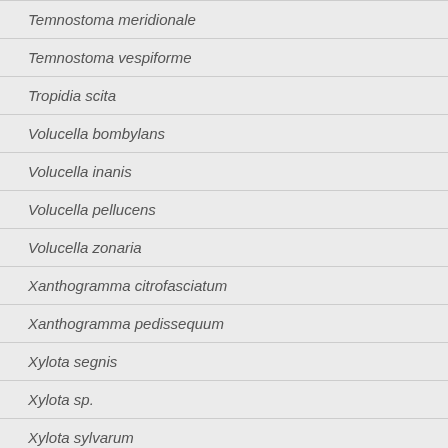Temnostoma meridionale
Temnostoma vespiforme
Tropidia scita
Volucella bombylans
Volucella inanis
Volucella pellucens
Volucella zonaria
Xanthogramma citrofasciatum
Xanthogramma pedissequum
Xylota segnis
Xylota sp.
Xylota sylvarum
My hunting grounds
Topics